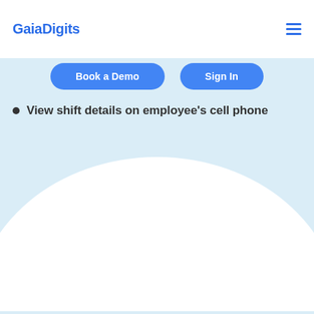GaiaDigits
Book a Demo
Sign In
View shift details on employee's cell phone
[Figure (illustration): Light blue background with large white semicircular arc rising from the bottom of the page]